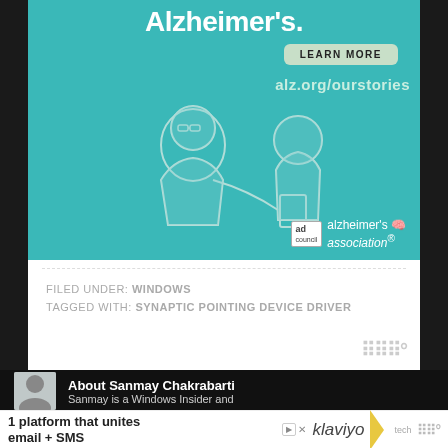[Figure (illustration): Teal advertisement banner for Alzheimer's Association featuring an illustrated elderly man and younger person, with text 'Alzheimer's.', a 'LEARN MORE' button, and 'alz.org/ourstories' URL.]
FILED UNDER: WINDOWS
TAGGED WITH: SYNAPTIC POINTING DEVICE DRIVER
About Sanmay Chakrabarti
Sanmay is a Windows Insider and
[Figure (photo): Small author photo thumbnail showing a person.]
[Figure (logo): Klaviyo advertisement banner at bottom: '1 platform that unites email + SMS' with Klaviyo logo.]